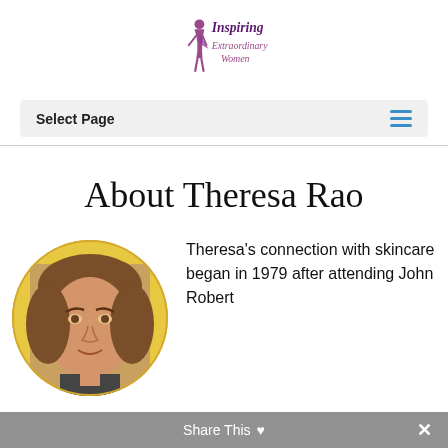[Figure (logo): Inspiring Extraordinary Women logo with stylized female figure in purple cape]
Select Page
About Theresa Rao
[Figure (photo): Circular portrait photo of Theresa Rao on yellow background]
Theresa's connection with skincare began in 1979 after attending John Robert
Share This ×